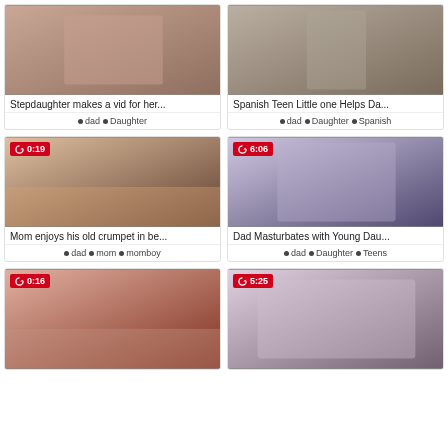[Figure (photo): Thumbnail 1 - no duration badge]
Stepdaughter makes a vid for her...
dad  Daughter
[Figure (photo): Thumbnail 2 - no duration badge]
Spanish Teen Little one Helps Da...
dad  Daughter  Spanish
[Figure (photo): Thumbnail 3 - duration 0:19]
Mom enjoys his old crumpet in be...
dad  mom  momboy
[Figure (photo): Thumbnail 4 - duration 6:06]
Dad Masturbates with Young Dau...
dad  Daughter  Teens
[Figure (photo): Thumbnail 5 - duration 0:16]
[Figure (photo): Thumbnail 6 - duration 5:25]